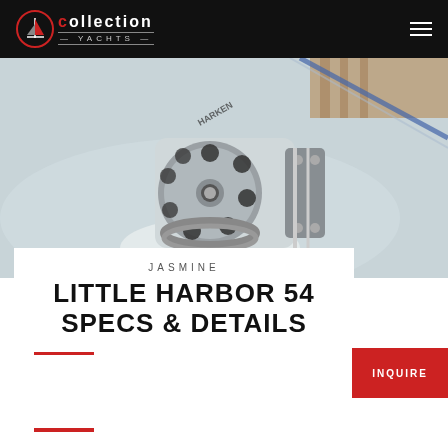collection YACHTS
[Figure (photo): Close-up photo of a Harken sailing block/pulley hardware on a boat deck, showing stainless steel sheave with circular holes and rope running through it]
JASMINE
LITTLE HARBOR 54 SPECS & DETAILS
INQUIRE